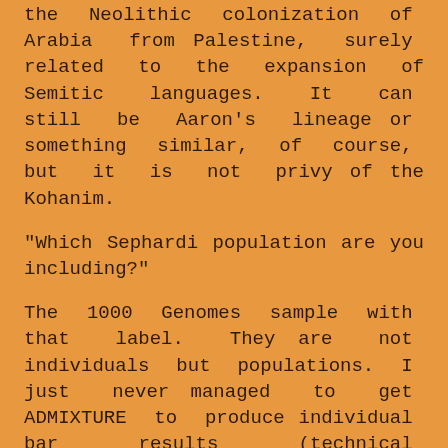the Neolithic colonization of Arabia from Palestine, surely related to the expansion of Semitic languages. It can still be Aaron's lineage or something similar, of course, but it is not privy of the Kohanim.
"Which Sephardi population are you including?"
The 1000 Genomes sample with that label. They are not individuals but populations. I just never managed to get ADMIXTURE to produce individual bar results (technical incompetence, I guess), so what you see is the population's average (normally most individuals within a pop. are quite similar but not always).
" If you compare several Sephardic populations you'd get a better idea of the common "Sephardic" component and whats from other influences."
Feel free to do it and share the results if you can. It may be interesting but then again we have